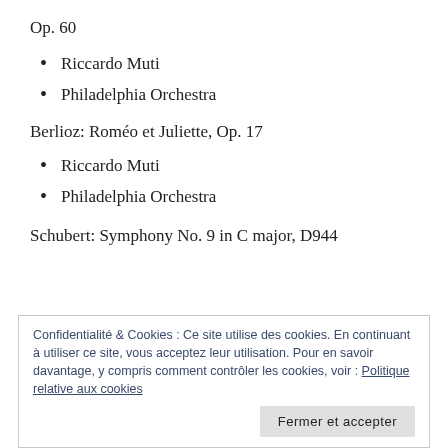Op. 60
Riccardo Muti
Philadelphia Orchestra
Berlioz: Roméo et Juliette, Op. 17
Riccardo Muti
Philadelphia Orchestra
Schubert: Symphony No. 9 in C major, D944
Confidentialité & Cookies : Ce site utilise des cookies. En continuant à utiliser ce site, vous acceptez leur utilisation. Pour en savoir davantage, y compris comment contrôler les cookies, voir : Politique relative aux cookies
Fermer et accepter